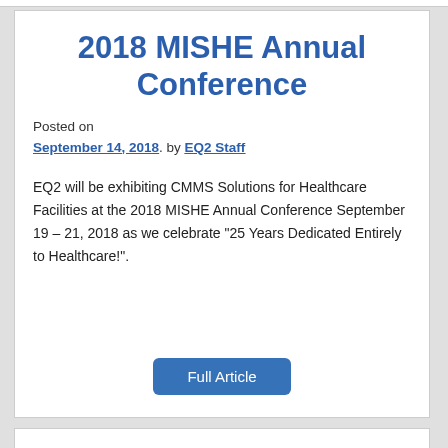2018 MISHE Annual Conference
Posted on September 14, 2018. by EQ2 Staff
EQ2 will be exhibiting CMMS Solutions for Healthcare Facilities at the 2018 MISHE Annual Conference September 19 – 21, 2018 as we celebrate “25 Years Dedicated Entirely to Healthcare!”.
Full Article
Iowa Society for Healthcare Engineering Fall Conference